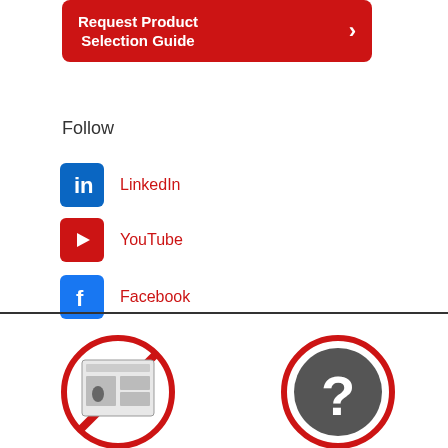[Figure (other): Red button with text 'Request Product Selection Guide' and right arrow]
Follow
[Figure (logo): LinkedIn icon (blue square with 'in') and red text 'LinkedIn']
[Figure (logo): YouTube icon (red square with play button) and red text 'YouTube']
[Figure (logo): Facebook icon (blue square with 'f') and red text 'Facebook']
[Figure (photo): Product selection guide booklet/catalog image inside a red circle with a diagonal red bar]
[Figure (infographic): Question mark icon inside a red circle (help/FAQ icon)]